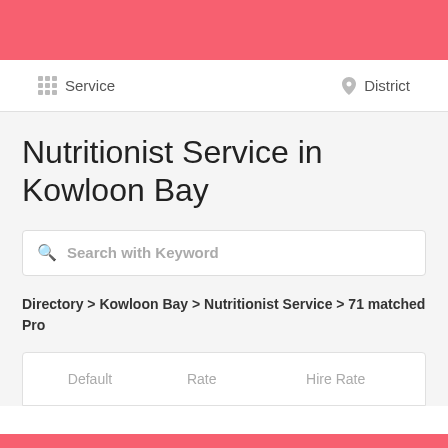Service   District
Nutritionist Service in Kowloon Bay
Search with Keyword
Directory > Kowloon Bay > Nutritionist Service > 71 matched Pro
| Default | Rate | Hire Rate |
| --- | --- | --- |